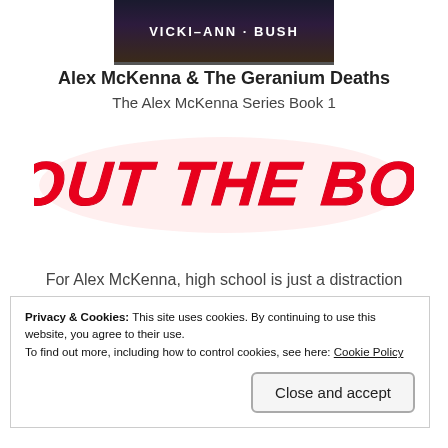[Figure (illustration): Top portion of a book cover with dark background showing author name VICKI-ANN BUSH in white letters]
Alex McKenna & The Geranium Deaths
The Alex McKenna Series Book 1
[Figure (illustration): Stylized red grunge handwritten text reading ABOUT THE BOOK]
For Alex McKenna, high school is just a distraction from the love of his life, Margaret, with whom he can't wait to spend more time once they get to college.
Privacy & Cookies: This site uses cookies. By continuing to use this website, you agree to their use.
To find out more, including how to control cookies, see here: Cookie Policy
Close and accept